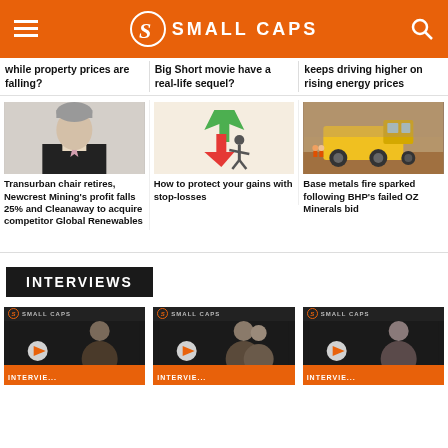SMALL CAPS
while property prices are falling?
Big Short movie have a real-life sequel?
keeps driving higher on rising energy prices
[Figure (photo): Portrait photo of a man in a suit]
Transurban chair retires, Newcrest Mining's profit falls 25% and Cleanaway to acquire competitor Global Renewables
[Figure (illustration): Illustration of a person with stock market arrows going up and down]
How to protect your gains with stop-losses
[Figure (photo): Photo of a large mining truck in an open pit mine]
Base metals fire sparked following BHP's failed OZ Minerals bid
INTERVIEWS
[Figure (screenshot): Small Caps interview video thumbnail with person]
[Figure (screenshot): Small Caps interview video thumbnail with person]
[Figure (screenshot): Small Caps interview video thumbnail with person]